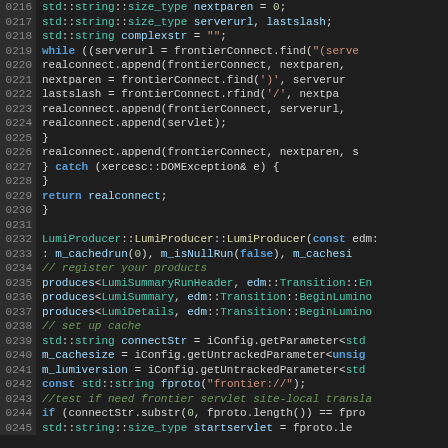[Figure (screenshot): Source code screenshot showing C++ code lines 0216–0245 with syntax highlighting on a dark background. Code covers string operations, while loop, catch block, LumiProducer constructor, and frontier connection logic.]